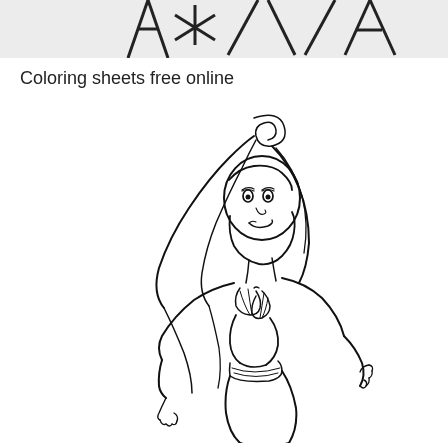[Figure (illustration): Partial top strip showing stylized text/logo partially cropped at the top of the page]
Coloring sheets free online
[Figure (illustration): Black and white line art coloring page of Ariel the Little Mermaid, showing her upper body with long flowing hair swept upward, wearing a shell bikini top, with one hand raised to the right and one lowered to the left, smiling expression, mermaid tail visible at bottom]